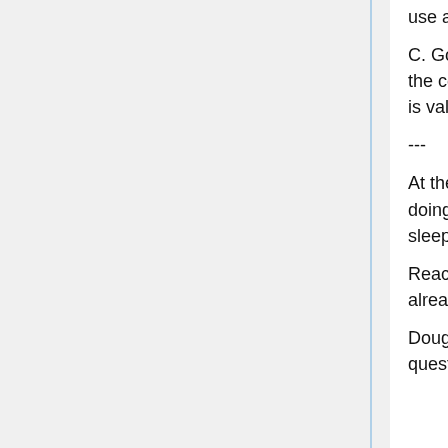use a zeo, I own my sleep data.
C. Go to the users - what should we all do with this data? The people in the community. These are issues best studied in aggregate, we think there is value in it, how can we best leverage it?
---
At the end of the day, the building of a commuity around what youâre doing is where the value is - sleep optimization / sleep data / focus on sleep issues not just sleep data.
Reaching out to existing communities - where can we find folks who are already having this issue.
Doug Mayer who runs car talk forums - folks who want to answer questions versus folks with question.